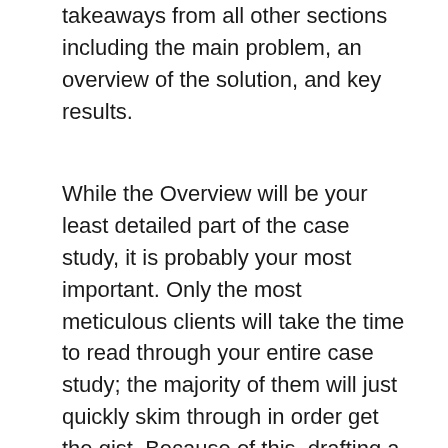takeaways from all other sections including the main problem, an overview of the solution, and key results.
While the Overview will be your least detailed part of the case study, it is probably your most important. Only the most meticulous clients will take the time to read through your entire case study; the majority of them will just quickly skim through in order get the gist. Because of this, drafting a complete and well-articulated overview should be your top priority.